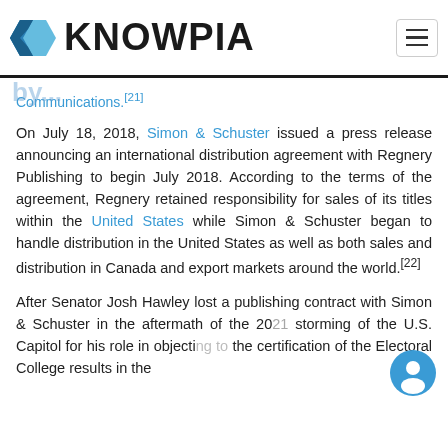KNOWPIA
Communications.[21]
On July 18, 2018, Simon & Schuster issued a press release announcing an international distribution agreement with Regnery Publishing to begin July 2018. According to the terms of the agreement, Regnery retained responsibility for sales of its titles within the United States while Simon & Schuster began to handle distribution in the United States as well as both sales and distribution in Canada and export markets around the world.[22]
After Senator Josh Hawley lost a publishing contract with Simon & Schuster in the aftermath of the 2021 storming of the U.S. Capitol for his role in objecting to the certification of the Electoral College results in the